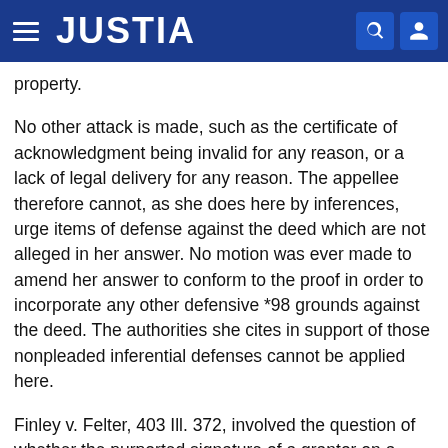JUSTIA
property.
No other attack is made, such as the certificate of acknowledgment being invalid for any reason, or a lack of legal delivery for any reason. The appellee therefore cannot, as she does here by inferences, urge items of defense against the deed which are not alleged in her answer. No motion was ever made to amend her answer to conform to the proof in order to incorporate any other defensive *98 grounds against the deed. The authorities she cites in support of those nonpleaded inferential defenses cannot be applied here.
Finley v. Felter, 403 Ill. 372, involved the question of whether the purported signature of a grantor on a deed was forged, and this court stated the rule which is to be applied in determining, in this case, whether the appellee has adduced proof sufficient to establish that